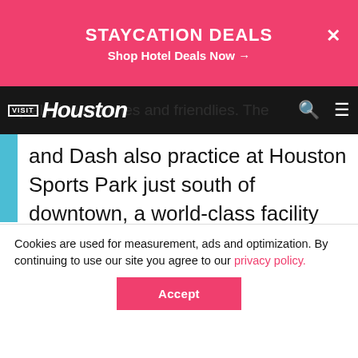STAYCATION DEALS — Shop Hotel Deals Now →
[Figure (screenshot): Visit Houston website navigation bar with logo, search icon, and hamburger menu]
qualifying matches and friendlies. The and Dash also practice at Houston Sports Park just south of downtown, a world-class facility with numerous fields where fans can watch practices for free.
[Figure (photo): Advertisement banner: ART FOR EVERYONE – Visit the Moody at Rice University, showing a building image on blue background]
Cookies are used for measurement, ads and optimization. By continuing to use our site you agree to our privacy policy.